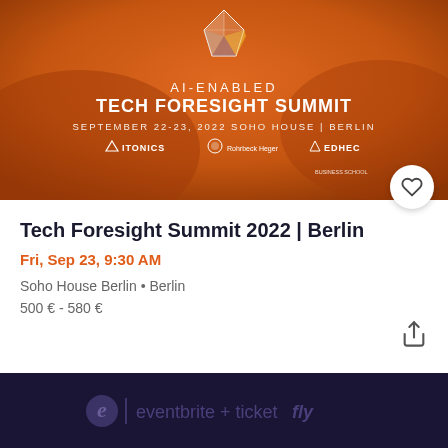[Figure (illustration): Event banner with orange/amber background, geometric crystal/diamond logo at top center, text 'AI-ENABLED TECH FORESIGHT SUMMIT SEPTEMBER 22-23, 2022 SOHO HOUSE | BERLIN' and logos for ITONICS, Rohrbeck Heger, EDHEC BUSINESS SCHOOL]
Tech Foresight Summit 2022 | Berlin
Fri, Sep 23, 9:30 AM
Soho House Berlin • Berlin
500 € - 580 €
[Figure (logo): Eventbrite + Ticketfly footer logo on dark navy background]